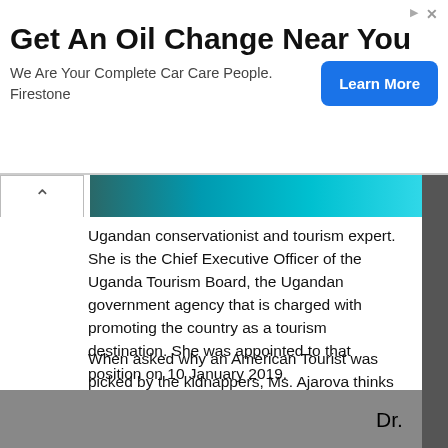[Figure (infographic): Advertisement banner: 'Get An Oil Change Near You' - Firestone ad with Learn More button]
Ugandan conservationist and tourism expert. She is the Chief Executive Officer of the Uganda Tourism Board, the Ugandan government agency that is charged with promoting the country as a tourism destination. She was appointed to that position on 10 January 2019.
When asked why an American Tourist was picked by the kidnappers, Ms. Ajarova thinks the selection was based on the age and not the nationality.
eTN reached out to Dr. Peter Tarlow, head of safertourism.com
Dr.